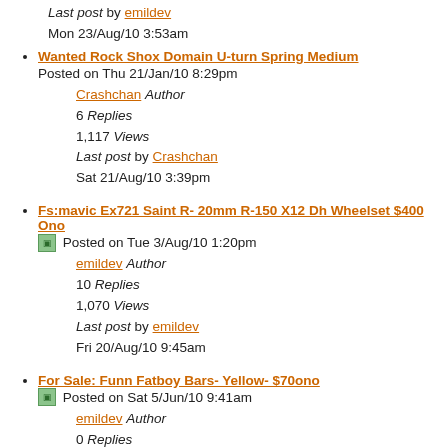1,682 Views
Last post by emildev
Mon 23/Aug/10 3:53am
Wanted Rock Shox Domain U-turn Spring Medium
Posted on Thu 21/Jan/10 8:29pm
Crashchan Author
6 Replies
1,117 Views
Last post by Crashchan
Sat 21/Aug/10 3:39pm
Fs:mavic Ex721 Saint R- 20mm R-150 X12 Dh Wheelset $400 Ono
[image] Posted on Tue 3/Aug/10 1:20pm
emildev Author
10 Replies
1,070 Views
Last post by emildev
Fri 20/Aug/10 9:45am
For Sale: Funn Fatboy Bars- Yellow- $70ono
[image] Posted on Sat 5/Jun/10 9:41am
emildev Author
0 Replies
562 Views
Last post by emildev
Sat 5/Jun/10 9:41am
Found
Posted on Tue 1/Jun/10 6:43pm